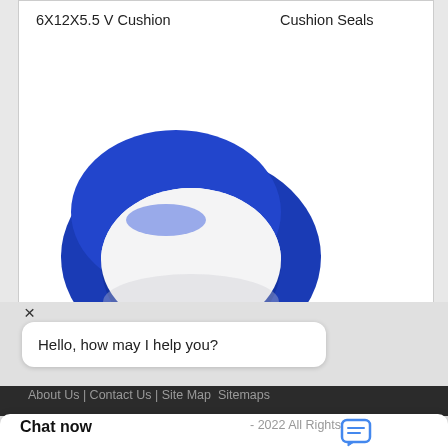6X12X5.5 V Cushion
Cushion Seals
[Figure (photo): Blue rubber cushion seal / V-ring seal, ring-shaped, photographed on white background]
[Figure (logo): WhatsApp green circular logo icon]
WhatsApp Online
PGRI-75 Y75X83X3.8 Cushion Seals
×
Hello, how may I help you?
About Us | Contact Us | Site Map  Sitemaps
- 2022 All Rights
Chat now